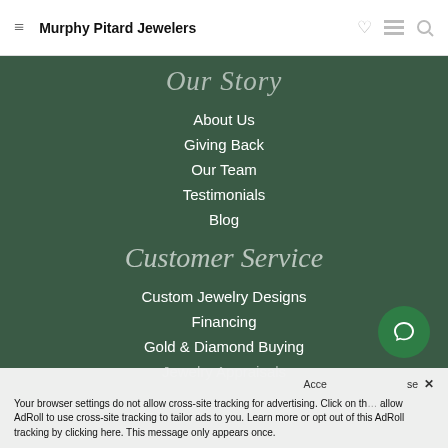Murphy Pitard Jewelers
Our Story
About Us
Giving Back
Our Team
Testimonials
Blog
Customer Service
Custom Jewelry Designs
Financing
Gold & Diamond Buying
Jewelry Appraisals
Your browser settings do not allow cross-site tracking for advertising. Click on the X to allow AdRoll to use cross-site tracking to tailor ads to you. Learn more or opt out of this AdRoll tracking by clicking here. This message only appears once.